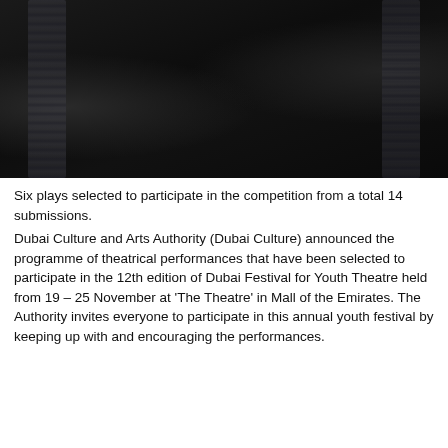[Figure (photo): Close-up photograph of a dark black garment or fabric with decorative sequined or beaded trim strips on the sides, set against a very dark background.]
Six plays selected to participate in the competition from a total 14 submissions.
Dubai Culture and Arts Authority (Dubai Culture) announced the programme of theatrical performances that have been selected to participate in the 12th edition of Dubai Festival for Youth Theatre held from 19 – 25 November at 'The Theatre' in Mall of the Emirates. The Authority invites everyone to participate in this annual youth festival by keeping up with and encouraging the performances.